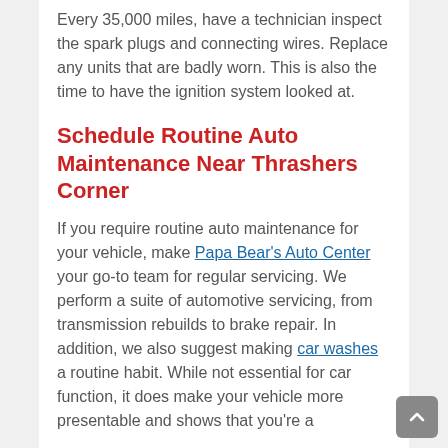Every 35,000 miles, have a technician inspect the spark plugs and connecting wires. Replace any units that are badly worn. This is also the time to have the ignition system looked at.
Schedule Routine Auto Maintenance Near Thrashers Corner
If you require routine auto maintenance for your vehicle, make Papa Bear's Auto Center your go-to team for regular servicing. We perform a suite of automotive servicing, from transmission rebuilds to brake repair. In addition, we also suggest making car washes a routine habit. While not essential for car function, it does make your vehicle more presentable and shows that you're a